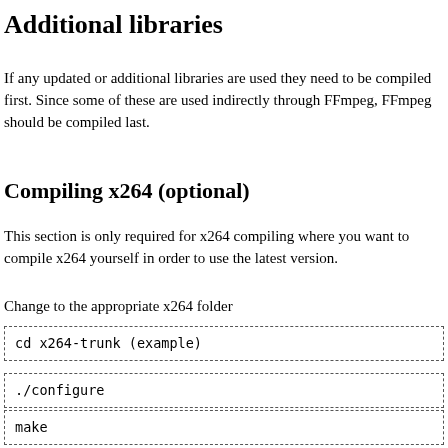Additional libraries
If any updated or additional libraries are used they need to be compiled first. Since some of these are used indirectly through FFmpeg, FFmpeg should be compiled last.
Compiling x264 (optional)
This section is only required for x264 compiling where you want to compile x264 yourself in order to use the latest version.
Change to the appropriate x264 folder
cd x264-trunk (example)
./configure
make